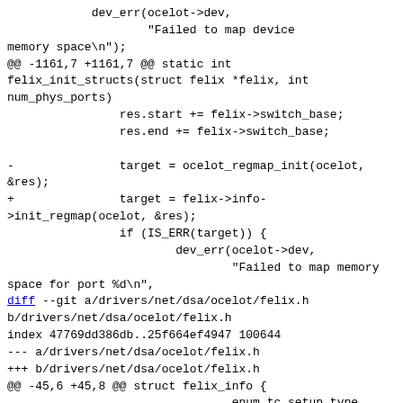dev_err(ocelot->dev,
                        "Failed to map device memory space\n");
@@ -1161,7 +1161,7 @@ static int felix_init_structs(struct felix *felix, int num_phys_ports)
                res.start += felix->switch_base;
                res.end += felix->switch_base;

-               target = ocelot_regmap_init(ocelot, &res);
+               target = felix->info->init_regmap(ocelot, &res);
                if (IS_ERR(target)) {
                        dev_err(ocelot->dev,
                                "Failed to map memory space for port %d\n",
diff --git a/drivers/net/dsa/ocelot/felix.h b/drivers/net/dsa/ocelot/felix.h
index 47769dd386db..25f664ef4947 100644
--- a/drivers/net/dsa/ocelot/felix.h
+++ b/drivers/net/dsa/ocelot/felix.h
@@ -45,6 +45,8 @@ struct felix_info {
                                enum tc_setup_type type, void *type_data);
        void    (*port_sched_speed_set)(struct ocelot *ocelot, int port,
                                        u32 speed);
+       struct regmap *(*init_regmap)(struct ocelot *ocelot,